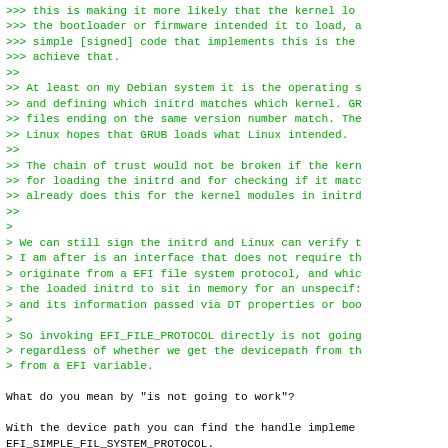>>> this is making it more likely that the kernel lo
>>> the bootloader or firmware intended it to load, a
>>> simple [signed] code that implements this is the
>>> achieve that.
>>
>> At least on my Debian system it is the operating s
>> and defining which initrd matches which kernel. GR
>> files ending on the same version number match. The
>> Linux hopes that GRUB loads what Linux intended.
>>
>> The chain of trust would not be broken if the kern
>> for loading the initrd and for checking if it matc
>> already does this for the kernel modules in initrd
>>
>
> We can still sign the initrd and Linux can verify t
> I am after is an interface that does not require th
> originate from a EFI file system protocol, and whic
> the loaded initrd to sit in memory for an unspecif:
> and its information passed via DT properties or boo
>
> So invoking EFI_FILE_PROTOCOL directly is not going
> regardless of whether we get the devicepath from th
> from a EFI variable.

What do you mean by "is not going to work"?

With the device path you can find the handle impleme
EFI_SIMPLE_FIL_SYSTEM_PROTOCOL.

>
>>>